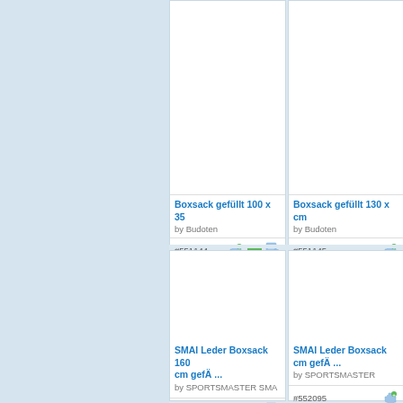[Figure (screenshot): E-commerce product listing page showing sports equipment (boxing bags). Left side has a light blue textured background panel. Right side shows product cards in a grid layout.]
Boxsack gefüllt 100 x 35
by Budoten
#551144
Boxsack gefüllt 130 x ... cm
by Budoten
#551145
SMAI Leder Boxsack 160 cm gefÄ ...
by SPORTSMASTER SMA
#552094
SMAI Leder Boxsack ... cm gefÄ ...
by SPORTSMASTER
#552095